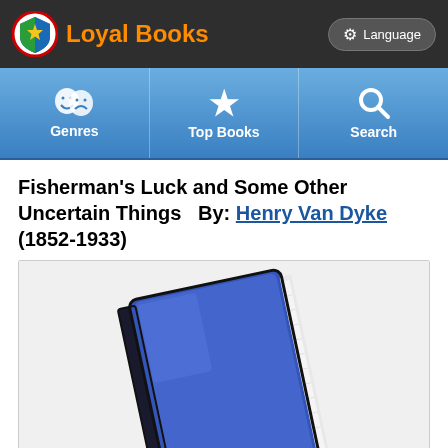Loyal Books
Fisherman's Luck and Some Other Uncertain Things  By: Henry Van Dyke (1852-1933)
[Figure (illustration): A blue hardcover book tilted at an angle, generic book cover illustration used as placeholder on the Loyal Books website.]